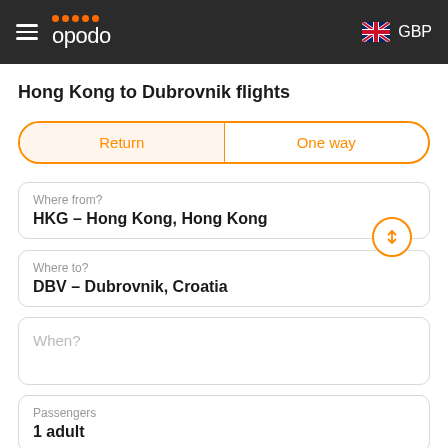opodo GBP
Hong Kong to Dubrovnik flights
Return | One way
Where from?
HKG – Hong Kong, Hong Kong
Where to?
DBV – Dubrovnik, Croatia
When?
Passengers
1 adult